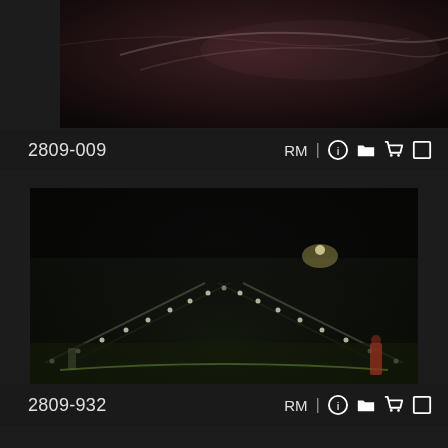[Figure (photo): Dark atmospheric photo showing smoke or clouds against a dark reddish-brown background, top portion of a two-image stock photo browser layout]
2809-009
RM | ⓘ 🗀 🛒 □
[Figure (photo): Dark nighttime photo of an underground or indoor space with two escalators or staircases lit by small dot lights along their rails, converging toward center, with a green-tinted floor and a faint green curved line]
2809-932
RM | ⓘ 🗀 🛒 □